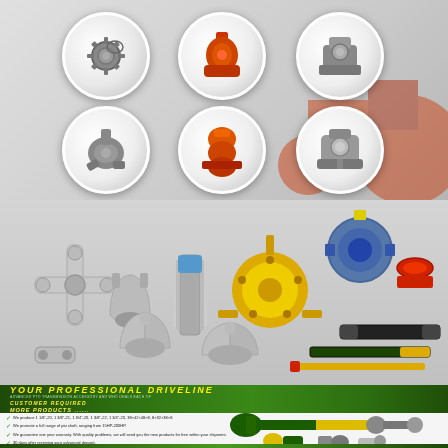[Figure (photo): Top section showing six circular product images of mechanical pump and drivetrain parts (oil pumps, water pumps, steering components) on a gray background with red tractor silhouette on the right]
[Figure (photo): Middle section showing various driveline components including universal joints, yokes, flanges, bearing supports, and drive shafts on a gray background]
YOUR PROFESSIONAL DRIVELINE
MORE PRODUCTS ......
We produce 1 1/8"-20, 1 3/8"-21, 1 3/4"-20, 1 3/8"-22, 1 3/4"-20, 38×42×48×8, 8×32×38×8
We promote a full range of pto shaft, ranging from 15HP-200HP.
We guarantee one year warranty. With quality problems, we will send you the new products for free within your shipment.
30 days after receiving your advanced deposit.
[Figure (photo): Green and yellow PTO drive shaft and small driveline component parts at bottom of page]